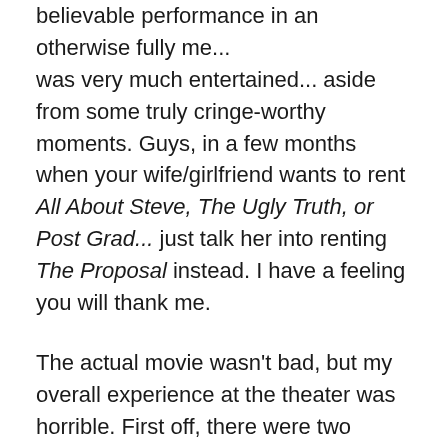believable performance in an otherwise fully me... was very much entertained... aside from some truly cringe-worthy moments. Guys, in a few months when your wife/girlfriend wants to rent All About Steve, The Ugly Truth, or Post Grad... just talk her into renting The Proposal instead. I have a feeling you will thank me.
The actual movie wasn't bad, but my overall experience at the theater was horrible. First off, there were two unchaperoned pre-teen girls who thought it would be fun to talk and giggle through the whole thing. Why can't they just text during a movie like all the other kids...LOL? However, they were the least of my concerns. Shortly after the movie started I began to hear this rhythmic rubbing noise from directly behind me. At first I thought dirty stuff was happening. As I listened more closely I changed my mind. It sounded more like somebody was sanding a birdhouse not